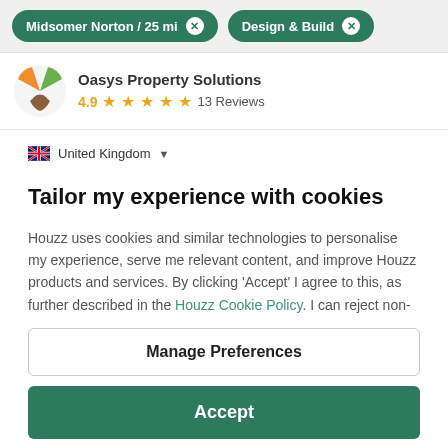Midsomer Norton / 25 mi  [x]   Design & Build  [x]
Oasys Property Solutions
4.9 ★★★★★ 13 Reviews
United Kingdom ▾
Tailor my experience with cookies
Houzz uses cookies and similar technologies to personalise my experience, serve me relevant content, and improve Houzz products and services. By clicking 'Accept' I agree to this, as further described in the Houzz Cookie Policy. I can reject non-
Manage Preferences
Accept